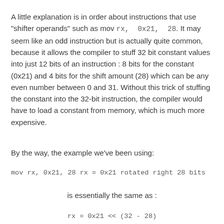A little explanation is in order about instructions that use "shifter operands" such as mov rx, 0x21, 28. It may seem like an odd instruction but is actually quite common, because it allows the compiler to stuff 32 bit constant values into just 12 bits of an instruction : 8 bits for the constant (0x21) and 4 bits for the shift amount (28) which can be any even number between 0 and 31. Without this trick of stuffing the constant into the 32-bit instruction, the compiler would have to load a constant from memory, which is much more expensive.
By the way, the example we've been using:
mov rx, 0x21, 28 rx = 0x21 rotated right 28 bits
is essentially the same as :
rx = 0x21 << (32 - 28)